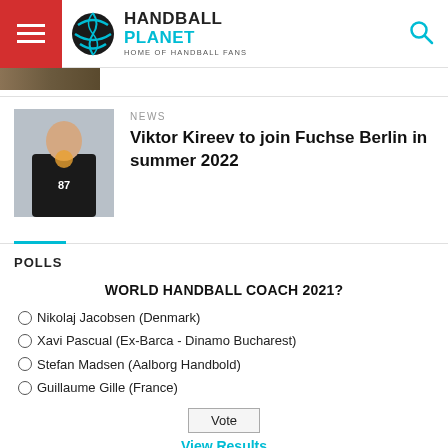HANDBALL PLANET — HOME OF HANDBALL FANS
[Figure (photo): Cropped photo thumbnail strip at top left below header]
NEWS
[Figure (photo): Photo of handball player wearing black jersey with number 87, holding a handball ball]
Viktor Kireev to join Fuchse Berlin in summer 2022
POLLS
WORLD HANDBALL COACH 2021?
Nikolaj Jacobsen (Denmark)
Xavi Pascual (Ex-Barca - Dinamo Bucharest)
Stefan Madsen (Aalborg Handbold)
Guillaume Gille (France)
Vote
View Results
Polls Archive